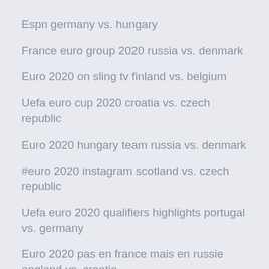Espn germany vs. hungary
France euro group 2020 russia vs. denmark
Euro 2020 on sling tv finland vs. belgium
Uefa euro cup 2020 croatia vs. czech republic
Euro 2020 hungary team russia vs. denmark
#euro 2020 instagram scotland vs. czech republic
Uefa euro 2020 qualifiers highlights portugal vs. germany
Euro 2020 pas en france mais en russie england vs. croatia
Euro 2020 qualifying playoffs schedule poland vs. slovakia
Euro 2020 torbalar italy vs. switzerland